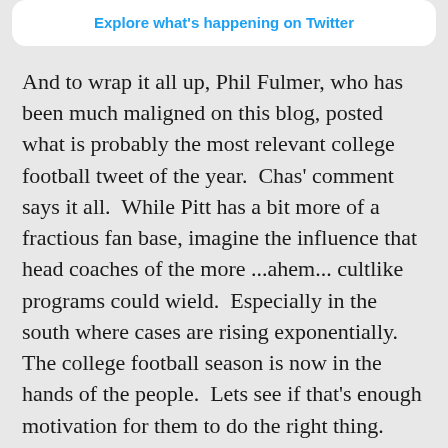[Figure (screenshot): Twitter button card with 'Explore what's happening on Twitter' link in blue bold text]
And to wrap it all up, Phil Fulmer, who has been much maligned on this blog, posted what is probably the most relevant college football tweet of the year.  Chas' comment says it all.  While Pitt has a bit more of a fractious fan base, imagine the influence that head coaches of the more ...ahem... cultlike programs could wield.  Especially in the south where cases are rising exponentially.  The college football season is now in the hands of the people.  Lets see if that's enough motivation for them to do the right thing.
[Figure (screenshot): Tweet card showing Chas Rich @ChasRich27 with Pitt Panthers avatar and Follow button, Twitter bird logo on right]